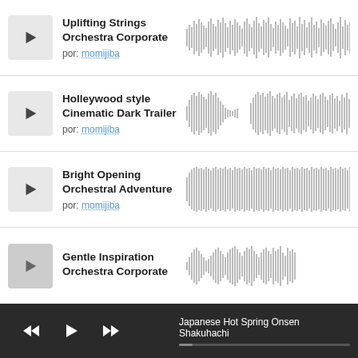[Figure (screenshot): Music track listing UI with 4 tracks shown, each with a play button, title, author, and waveform visualization. Bottom player bar shows playback controls and currently playing track.]
Uplifting Strings Orchestra Corporate por: momijiba
Holleywood style Cinematic Dark Trailer por: momijiba
Bright Opening Orchestral Adventure por: momijiba
Gentle Inspiration Orchestra Corporate
Japanese Hot Spring Onsen Shakuhachi